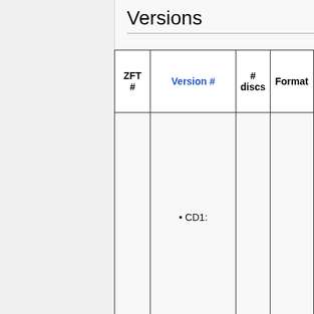Versions
| ZFT # | Version # | # discs | Format |
| --- | --- | --- | --- |
|  |  |  |  |